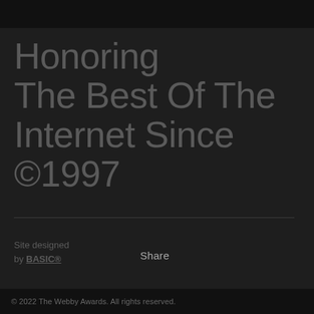Honoring The Best Of The Internet Since ©1997
Site designed by BASIC®
Share
© 2022 The Webby Awards. All rights reserved.